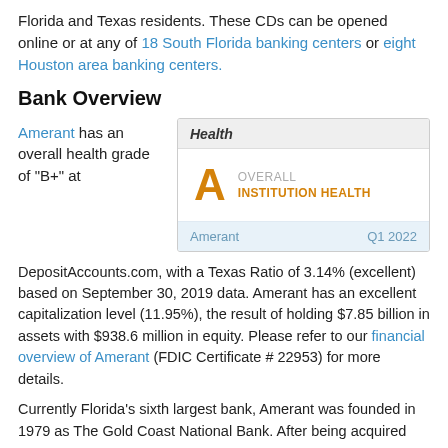Florida and Texas residents. These CDs can be opened online or at any of 18 South Florida banking centers or eight Houston area banking centers.
Bank Overview
Amerant has an overall health grade of "B+" at
[Figure (infographic): Health card showing Overall Institution Health grade A for Amerant, Q1 2022]
DepositAccounts.com, with a Texas Ratio of 3.14% (excellent) based on September 30, 2019 data. Amerant has an excellent capitalization level (11.95%), the result of holding $7.85 billion in assets with $938.6 million in equity. Please refer to our financial overview of Amerant (FDIC Certificate # 22953) for more details.
Currently Florida's sixth largest bank, Amerant was founded in 1979 as The Gold Coast National Bank. After being acquired